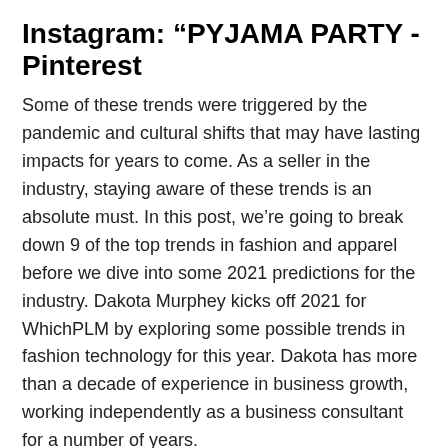Instagram: “PYJAMA PARTY - Pinterest
Some of these trends were triggered by the pandemic and cultural shifts that may have lasting impacts for years to come. As a seller in the industry, staying aware of these trends is an absolute must. In this post, we’re going to break down 9 of the top trends in fashion and apparel before we dive into some 2021 predictions for the industry. Dakota Murphey kicks off 2021 for WhichPLM by exploring some possible trends in fashion technology for this year. Dakota has more than a decade of experience in business growth, working independently as a business consultant for a number of years.